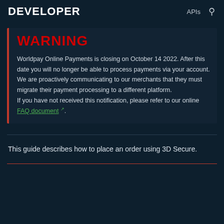DEVELOPER  APIs
WARNING
Worldpay Online Payments is closing on October 14 2022. After this date you will no longer be able to process payments via your account.
We are proactively communicating to our merchants that they must migrate their payment processing to a different platform.
If you have not received this notification, please refer to our online FAQ document.
This guide describes how to place an order using 3D Secure.